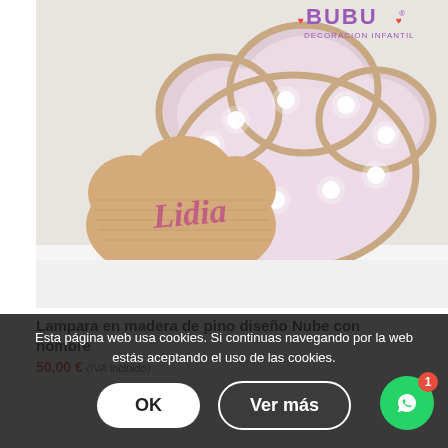[Figure (photo): Photo of a wooden cloud-shaped lamp with LED lights and the name 'Lidia' in pink script on a wooden cutout in front. The lamp glows with white LED dots on a pale pink background. BUBU Decoracion Infantil logo appears at the top right.]
Lampara en madera de pino diseño Nube con nombre
50,00 € (IVA incluido)
Esta página web usa cookies. Si continuas navegando por la web estás aceptando el uso de las cookies.
OK
Ver más